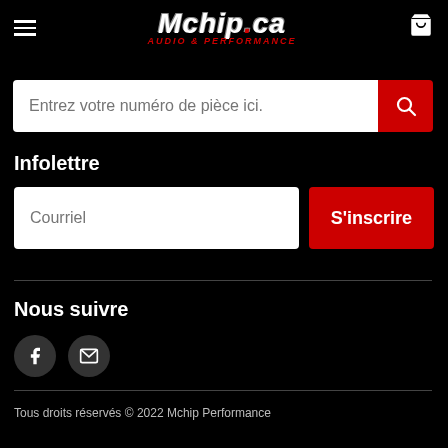[Figure (logo): Mchip.ca Audio & Performance logo in white italic bold text with red subtitle on black background]
Entrez votre numéro de pièce ici.
Infolettre
Courriel
S'inscrire
Nous suivre
[Figure (illustration): Facebook icon circle button]
[Figure (illustration): Email/envelope icon circle button]
Tous droits réservés © 2022 Mchip Performance